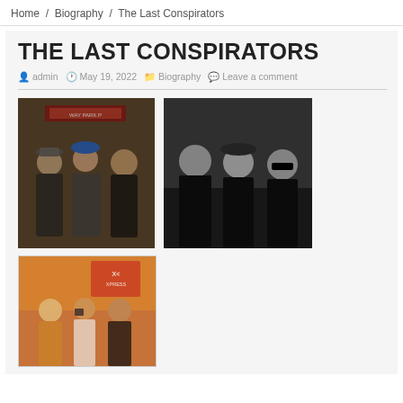Home / Biography / The Last Conspirators
THE LAST CONSPIRATORS
admin   May 19, 2022   Biography   Leave a comment
[Figure (photo): Color photo of a group of people at a subway/metro station entrance, one wearing a blue hat and striped scarf]
[Figure (photo): Black and white photo of three people standing against a wall]
[Figure (photo): Color photo of three people standing on a street with bright city lights and storefronts in background]